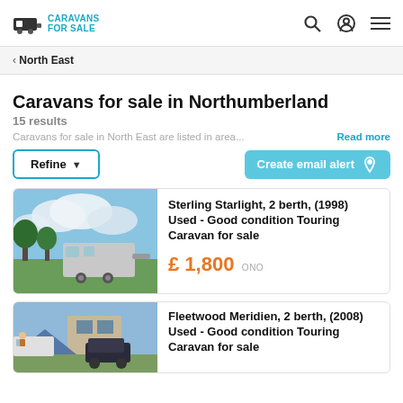Caravans For Sale
< North East
Caravans for sale in Northumberland
15 results
Caravans for sale in North East are listed in area... Read more
Refine | Create email alert
[Figure (photo): Photo of a caravan parked outdoors with blue sky and clouds in background]
Sterling Starlight, 2 berth, (1998) Used - Good condition Touring Caravan for sale
£ 1,800 ONO
[Figure (photo): Photo of a caravan at a campsite with a car and tent visible]
Fleetwood Meridien, 2 berth, (2008) Used - Good condition Touring Caravan for sale